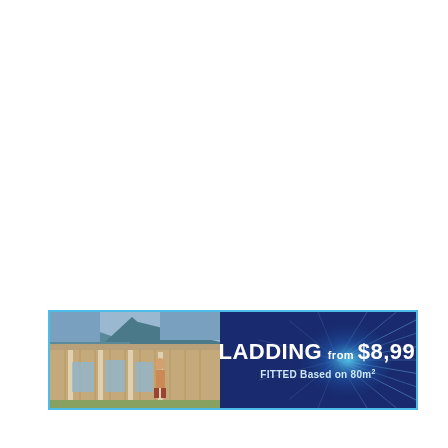[Figure (infographic): Advertising banner for cladding service. Left side shows a photo of a house exterior with timber cladding, verandah columns, and a person standing on the porch. Right side is a dark navy blue background with starburst light rays and text reading 'CLADDING from $8,990* FITTED Based on 80m2'. The banner has a light blue border.]